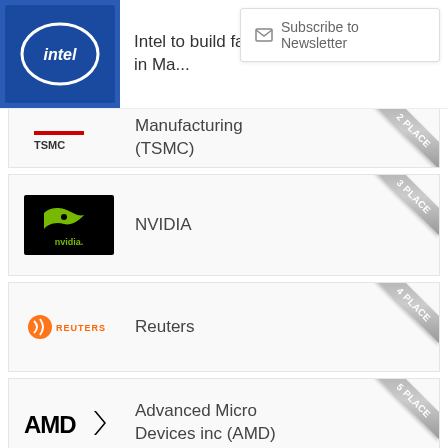[Figure (logo): Intel logo with factory news headline: Intel to build factory in Ma...]
Intel to build factory in Ma...
Subscribe to Newsletter
[Figure (logo): TSMC logo - partial card (2nd place)]
Manufacturing (TSMC)
[Figure (logo): NVIDIA logo - black background with eye icon (3rd place)]
NVIDIA
[Figure (logo): Reuters logo - orange globe and text (4th place)]
Reuters
[Figure (logo): AMD logo (5th place)]
Advanced Micro Devices inc (AMD)
[Figure (logo): Intel logo - oval with intel text (6th place)]
Intel